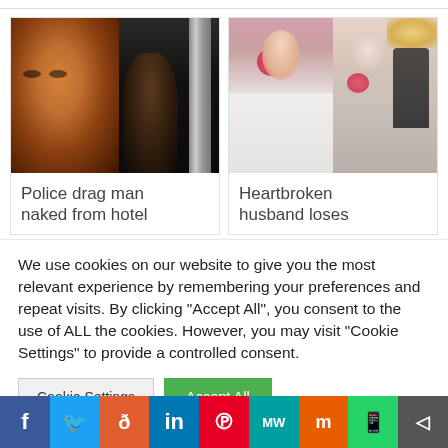[Figure (photo): Left card: composite of a man's face mug shot on the left half and a dark hallway/hotel scene on the right half]
Police drag man naked from hotel
[Figure (photo): Right card: composite wedding photo showing two brides, one with hair and one bald, with grooms, in an ornate venue]
Heartbroken husband loses
We use cookies on our website to give you the most relevant experience by remembering your preferences and repeat visits. By clicking "Accept All", you consent to the use of ALL the cookies. However, you may visit "Cookie Settings" to provide a controlled consent.
Cookie Settings
Accept All